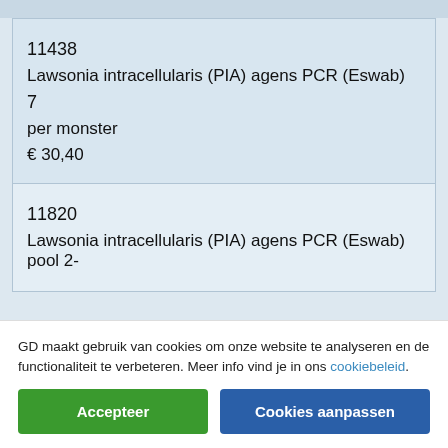11438
Lawsonia intracellularis (PIA) agens PCR (Eswab)
7
per monster
€ 30,40
11820
Lawsonia intracellularis (PIA) agens PCR (Eswab) pool 2-
GD maakt gebruik van cookies om onze website te analyseren en de functionaliteit te verbeteren. Meer info vind je in ons cookiebeleid.
Accepteer
Cookies aanpassen